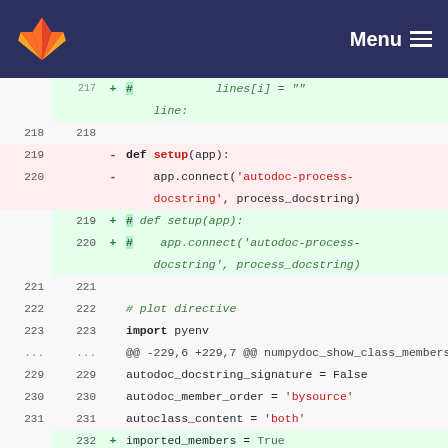GitLab — Menu
[Figure (screenshot): Code diff view showing Python source changes. Lines 217-234 displayed with additions (green) and deletions (red). Changes include commenting out setup() function and adding imported_members = True.]